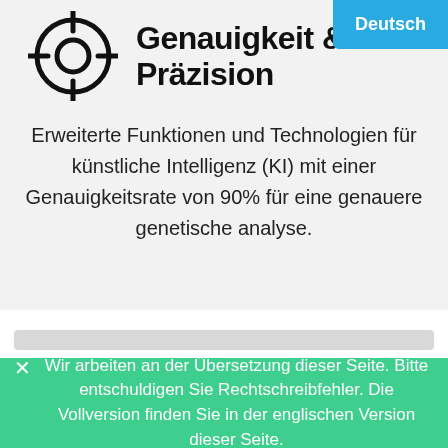[Figure (illustration): Crosshair/target circle icon in black outline]
Genauigkeit & Präzision
Erweiterte Funktionen und Technologien für künstliche Intelligenz (KI) mit einer Genauigkeitsrate von 90% für eine genauere genetische analyse.
Wir arbeiten an der Übersetzung dieser Seite. Bitte entschuldigen Sie Rechtschreibfehler. Die Vollversion finden Sie in der englischen Version dieser Seite.